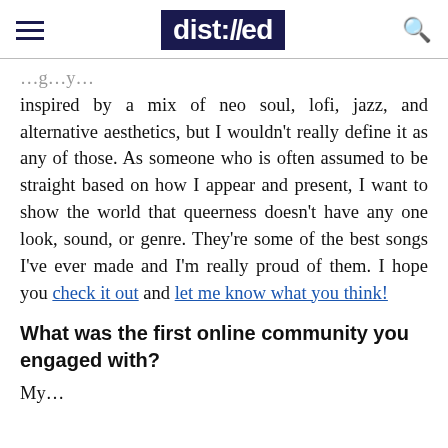dist://ed
inspired by a mix of neo soul, lofi, jazz, and alternative aesthetics, but I wouldn't really define it as any of those. As someone who is often assumed to be straight based on how I appear and present, I want to show the world that queerness doesn't have any one look, sound, or genre. They're some of the best songs I've ever made and I'm really proud of them. I hope you check it out and let me know what you think!
What was the first online community you engaged with?
My...